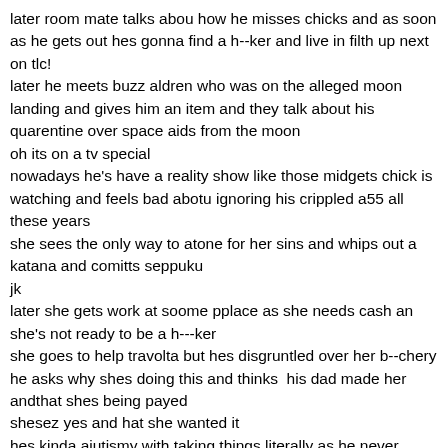later room mate talks abou how he misses chicks and as soon as he gets out hes gonna find a h--ker and live in filth up next on tlc!
later he meets buzz aldren who was on the alleged moon landing and gives him an item and they talk about his quarentine over space aids from the moon
oh its on a tv special
nowadays he's have a reality show like those midgets chick is watching and feels bad abotu ignoring his crippled a55 all these years
she sees the only way to atone for her sins and whips out a katana and comitts seppuku
jk
later she gets work at soome pplace as she needs cash an she's not ready to be a h---ker
she goes to help travolta but hes disgruntled over her b--chery
he asks why shes doing this and thinks  his dad made her andthat shes being payed
shesez yes and hat she wanted it
hes kinda aiutismy with taking things literally as he never watched all in the family amd she explains she was gonna